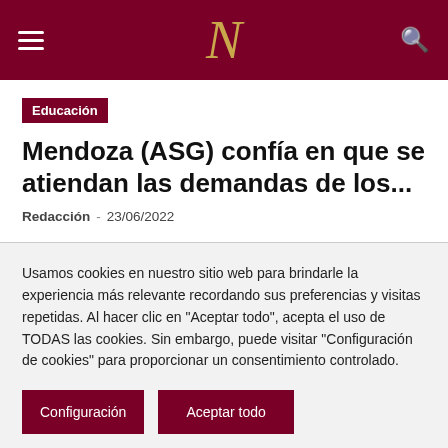N
Educación
Mendoza (ASG) confía en que se atiendan las demandas de los...
Redacción  -  23/06/2022
Usamos cookies en nuestro sitio web para brindarle la experiencia más relevante recordando sus preferencias y visitas repetidas. Al hacer clic en "Aceptar todo", acepta el uso de TODAS las cookies. Sin embargo, puede visitar "Configuración de cookies" para proporcionar un consentimiento controlado.